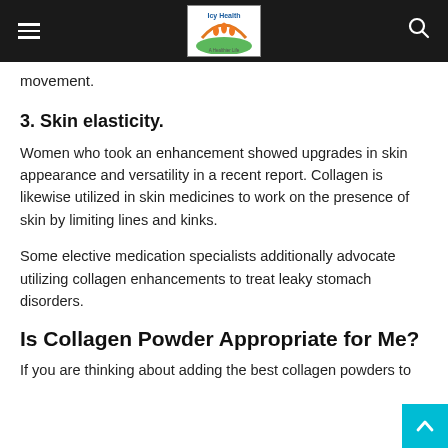Icy Health — A Healthier Life
movement.
3. Skin elasticity.
Women who took an enhancement showed upgrades in skin appearance and versatility in a recent report. Collagen is likewise utilized in skin medicines to work on the presence of skin by limiting lines and kinks.
Some elective medication specialists additionally advocate utilizing collagen enhancements to treat leaky stomach disorders.
Is Collagen Powder Appropriate for Me?
If you are thinking about adding the best collagen powders to